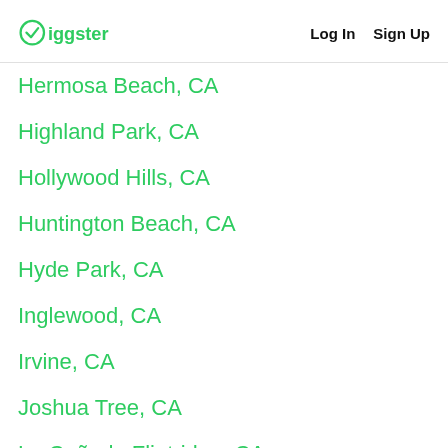Giggster  Log In  Sign Up
Hermosa Beach, CA
Highland Park, CA
Hollywood Hills, CA
Huntington Beach, CA
Hyde Park, CA
Inglewood, CA
Irvine, CA
Joshua Tree, CA
La Cañada Flintridge, CA
Lake Arrowhead, CA
Lancaster, CA
Long Beach, CA